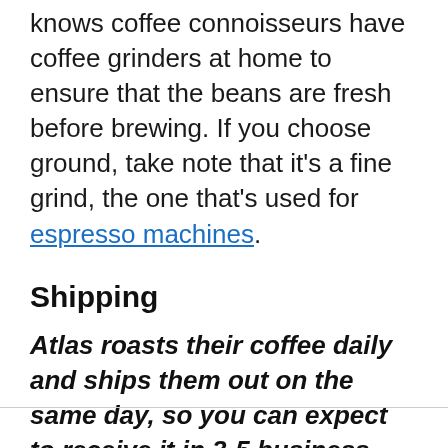knows coffee connoisseurs have coffee grinders at home to ensure that the beans are fresh before brewing. If you choose ground, take note that it's a fine grind, the one that's used for espresso machines.
Shipping
Atlas roasts their coffee daily and ships them out on the same day, so you can expect to receive it in 3-5 business days.